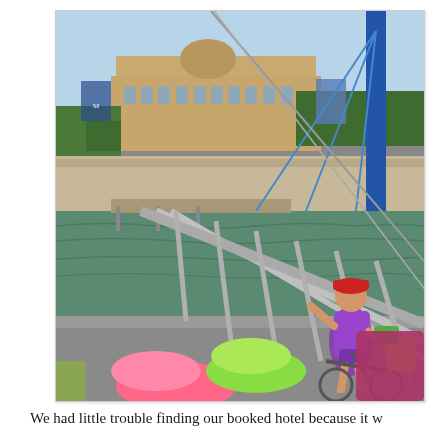[Figure (photo): A woman in a purple sleeveless shirt and red cap stands with a bicycle loaded with yellow and green panniers on a pedestrian bridge with metal railings. The bridge crosses a wide river. In the background is a large classical stone building with a dome, surrounded by trees. The foreground shows colorful bags on another bicycle. The scene appears to be in a European city on a sunny day.]
We had little trouble finding our booked hotel because it w